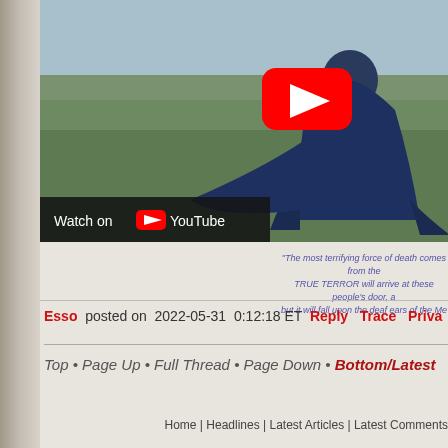[Figure (screenshot): YouTube video thumbnail showing a woman in a dark blue flowing dress standing in a field, with a YouTube play button overlay and a 'Watch on YouTube' bar at the bottom left.]
“The most terrifying force of death comes from the TRUE TERROR will arrive at these people’s door, a but it will fall upon the deaf ears of the Me
Esso  posted on  2022-05-31  0:12:18 ET  Reply  Trace  Priva
Top • Page Up • Full Thread • Page Down • Bottom/Latest
Home | Headlines | Latest Articles | Latest Comments